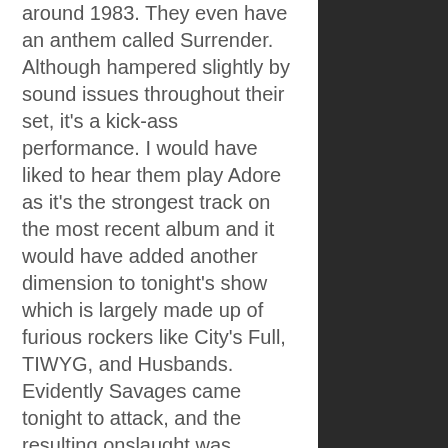around 1983. They even have an anthem called Surrender. Although hampered slightly by sound issues throughout their set, it's a kick-ass performance. I would have liked to hear them play Adore as it's the strongest track on the most recent album and it would have added another dimension to tonight's show which is largely made up of furious rockers like City's Full, TIWYG, and Husbands. Evidently Savages came tonight to attack, and the resulting onslaught was magnificent.
The pleasant folk and brass of Beirut is as removed from Savages as you're likely to get, and their Hispanic sound is easy on the ear as I queue for cervezas. Within minutes, my half decent spot is gobbled up by mobs of people, thousands pouring into the main stage.